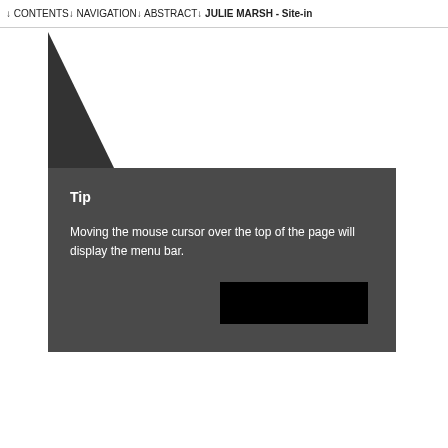↓ CONTENTS  ↓ NAVIGATION  ↓ ABSTRACT  ↓ JULIE MARSH - Site-in
[Figure (illustration): Dark triangle shape pointing right, positioned in upper left area of the page body]
Tip
Moving the mouse cursor over the top of the page will display the menu bar.
[Figure (screenshot): Black rectangle, representing a redacted or blacked-out UI element]